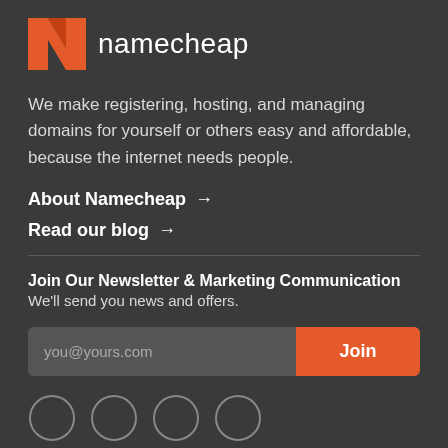[Figure (logo): Namecheap logo with orange N icon and text 'namecheap']
We make registering, hosting, and managing domains for yourself or others easy and affordable, because the internet needs people.
About Namecheap →
Read our blog →
Join Our Newsletter & Marketing Communication
We'll send you news and offers.
[Figure (other): Email input field with placeholder 'you@yours.com' and orange Join button]
[Figure (other): Row of partially visible social media circle icons at bottom]